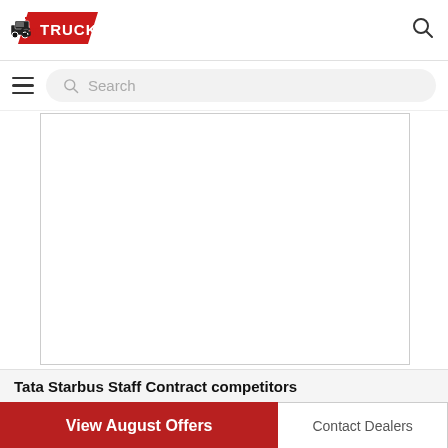[Figure (logo): GT Trucks website logo with truck icon and red/white branding]
[Figure (screenshot): Search icon (magnifying glass) in top right header]
[Figure (screenshot): Hamburger menu icon and search bar with placeholder text 'Search']
[Figure (screenshot): White advertisement/content area with border]
Tata Starbus Staff Contract competitors
[Figure (screenshot): View August Offers button (red) and Contact Dealers button (white with border)]